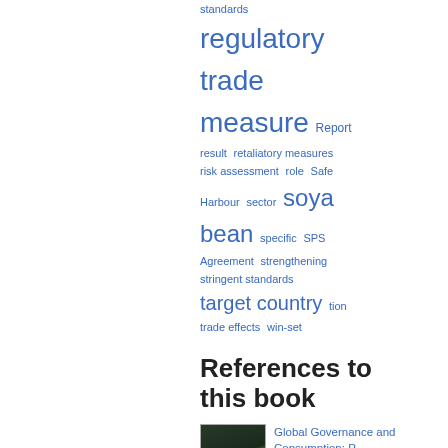[Figure (other): Tag cloud showing index terms in blue: standards (top, cut off), regulatory (large), trade (large), measure (large), Report, result, retaliatory measures, risk assessment, role, Safe Harbour, sector, soya bean (very large), specific, SPS Agreement, strengthening, stringent standards, target country (large), tion, trade effects, win-set]
References to this book
Global Governance and Consumption: Challenges